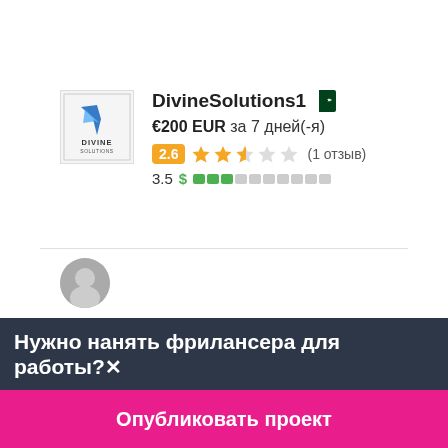[Figure (logo): DivineSolutions1 company logo with bird/arrow icon and text DIVINE]
DivineSolutions1 🇵🇰
€200 EUR за 7 дней(-я)
2.6 ★★★☆☆ (1 отзыв)
3.5 $ ███░░░░░░░
Нужно нанять фрилансера для работы?✕
Опубликовать проект